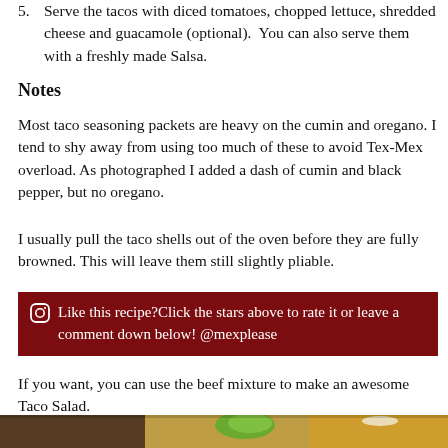5. Serve the tacos with diced tomatoes, chopped lettuce, shredded cheese and guacamole (optional). You can also serve them with a freshly made Salsa.
Notes
Most taco seasoning packets are heavy on the cumin and oregano. I tend to shy away from using too much of these to avoid Tex-Mex overload. As photographed I added a dash of cumin and black pepper, but no oregano.
I usually pull the taco shells out of the oven before they are fully browned. This will leave them still slightly pliable.
🔘 Like this recipe?Click the stars above to rate it or leave a comment down below! @mexplease
If you want, you can use the beef mixture to make an awesome Taco Salad.
[Figure (photo): Photo of taco ingredients including ground beef and fresh vegetables/taco shells, partially visible at the bottom of the page.]